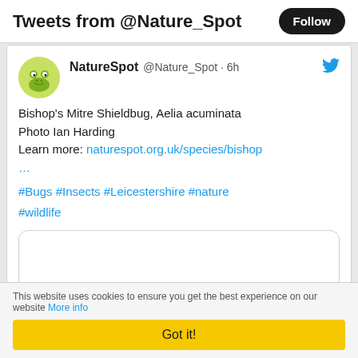Tweets from @Nature_Spot
NatureSpot @Nature_Spot · 6h
Bishop's Mitre Shieldbug, Aelia acuminata
Photo Ian Harding
Learn more: naturespot.org.uk/species/bishop
...
#Bugs #Insects #Leicestershire #nature #wildlife
[Figure (photo): Embedded tweet image placeholder (white rounded rectangle)]
This website uses cookies to ensure you get the best experience on our website More info
Got it!